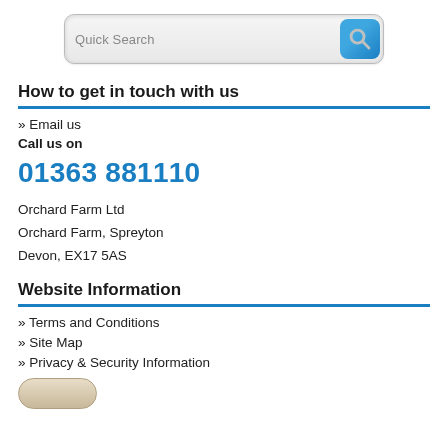[Figure (screenshot): Quick Search input bar with a blue search button icon on the right]
How to get in touch with us
» Email us
Call us on
01363 881110
Orchard Farm Ltd
Orchard Farm, Spreyton
Devon, EX17 5AS
Website Information
» Terms and Conditions
» Site Map
» Privacy & Security Information
[Figure (illustration): Partially visible beige/tan rounded button at the bottom]